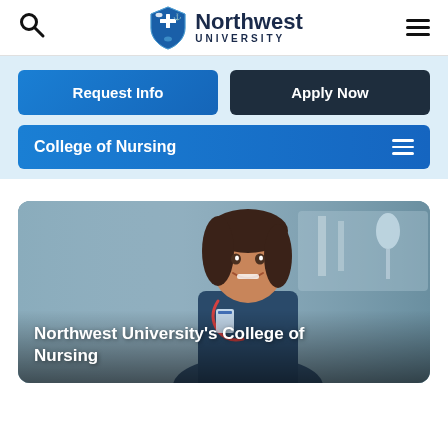Northwest University
Request Info
Apply Now
College of Nursing
[Figure (photo): Smiling female nurse in scrubs with stethoscope in a hospital setting, with text overlay reading Northwest University's College of Nursing]